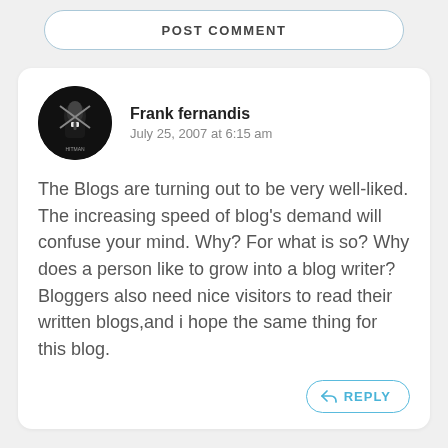POST COMMENT
Frank fernandis
July 25, 2007 at 6:15 am
The Blogs are turning out to be very well-liked. The increasing speed of blog's demand will confuse your mind. Why? For what is so? Why does a person like to grow into a blog writer? Bloggers also need nice visitors to read their written blogs,and i hope the same thing for this blog.
REPLY